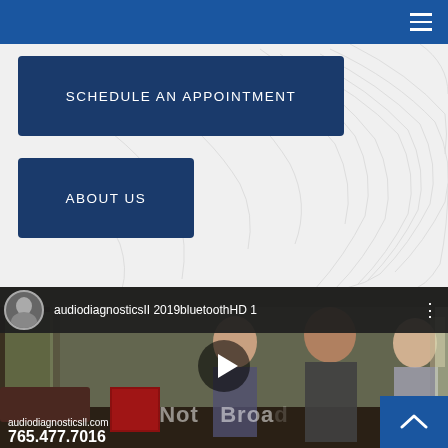Navigation bar with hamburger menu
SCHEDULE AN APPOINTMENT
ABOUT US
[Figure (screenshot): YouTube video thumbnail showing a woman and two children in a medical office. Channel: audiodiagnosticsII. Video title: audiodiagnosticsII 2019bluetoothHD 1. Bottom overlay shows audiodiagnosticsll.com and phone number 765.477.7016]